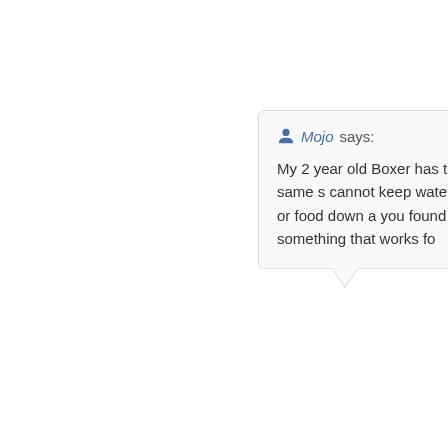Mojo says: My 2 year old Boxer has the same s cannot keep water or food down a you found something that works fo
Octo
steven says: My vet suggested Trifexis, and stupidly, I gave is a 60 pound pit-lab mix and was almost a y started vomiting nonstop. First we thought it on until the next morning. Of course we took likely a reaction from the Trifexis. Not only w of it, and wouldn't eat or drink. She also wou This subsided over a few days, however, it to